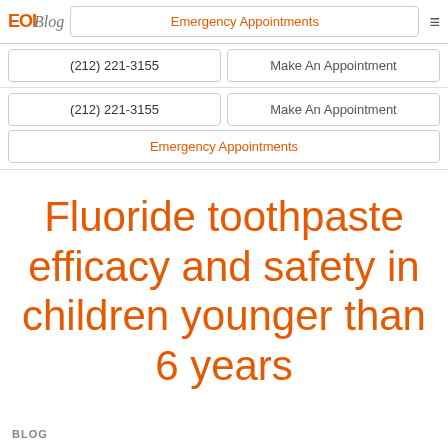EOI Blog | Emergency Appointments | (212) 221-3155 | Make An Appointment
(212) 221-3155
Make An Appointment
(212) 221-3155
Make An Appointment
Emergency Appointments
Fluoride toothpaste efficacy and safety in children younger than 6 years
BLOG